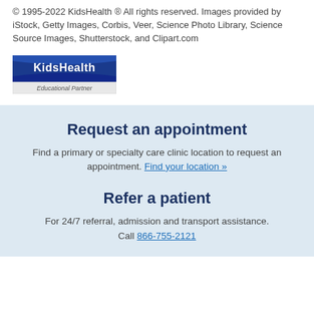© 1995-2022 KidsHealth ® All rights reserved. Images provided by iStock, Getty Images, Corbis, Veer, Science Photo Library, Science Source Images, Shutterstock, and Clipart.com
[Figure (logo): KidsHealth Educational Partner logo — blue ribbon-style background with white bold text 'KidsHealth' and smaller text 'Educational Partner' below]
Request an appointment
Find a primary or specialty care clinic location to request an appointment. Find your location »
Refer a patient
For 24/7 referral, admission and transport assistance. Call 866-755-2121